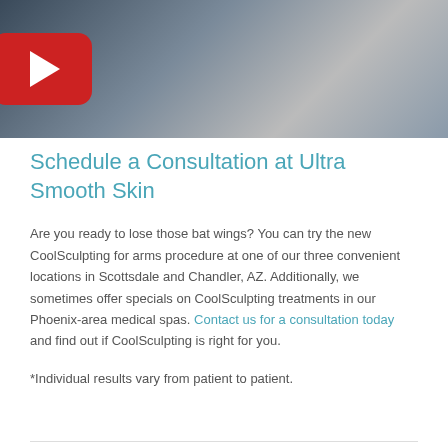[Figure (photo): Video thumbnail showing a medical professional performing a CoolSculpting procedure on a patient's arm, with a YouTube-style play button overlay in the lower left]
Schedule a Consultation at Ultra Smooth Skin
Are you ready to lose those bat wings? You can try the new CoolSculpting for arms procedure at one of our three convenient locations in Scottsdale and Chandler, AZ. Additionally, we sometimes offer specials on CoolSculpting treatments in our Phoenix-area medical spas. Contact us for a consultation today and find out if CoolSculpting is right for you.
*Individual results vary from patient to patient.